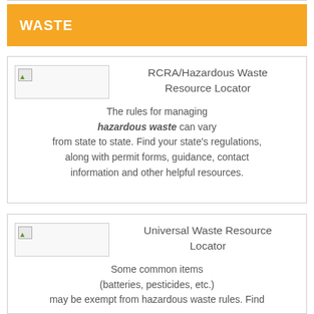WASTE
RCRA/Hazardous Waste Resource Locator

The rules for managing hazardous waste can vary from state to state. Find your state's regulations, along with permit forms, guidance, contact information and other helpful resources.
Universal Waste Resource Locator

Some common items (batteries, pesticides, etc.) may be exempt from hazardous waste rules. Find